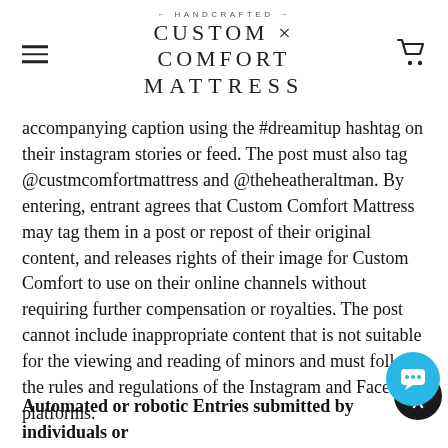HANDCRAFTED — CUSTOM × COMFORT MATTRESS
accompanying caption using the #dreamitup hashtag on their instagram stories or feed. The post must also tag @custmcomfortmattress and @theheatheraltman. By entering, entrant agrees that Custom Comfort Mattress may tag them in a post or repost of their original content, and releases rights of their image for Custom Comfort to use on their online channels without requiring further compensation or royalties. The post cannot include inappropriate content that is not suitable for the viewing and reading of minors and must follow the rules and regulations of the Instagram and Facebook platforms.
Automated or robotic Entries submitted by individuals or organizations will be disqualified. Digital media entry must